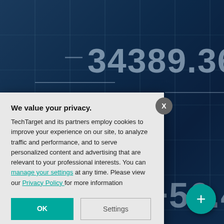[Figure (screenshot): Dark blue financial stock ticker background showing numbers '+34389.36' and '+56.45' in large white text, with grid lines overlay suggesting a trading platform interface.]
We value your privacy.
TechTarget and its partners employ cookies to improve your experience on our site, to analyze traffic and performance, and to serve personalized content and advertising that are relevant to your professional interests. You can manage your settings at any time. Please view our Privacy Policy for more information
OK
Settings